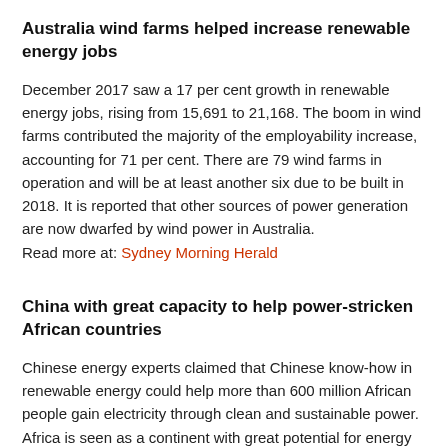Australia wind farms helped increase renewable energy jobs
December 2017 saw a 17 per cent growth in renewable energy jobs, rising from 15,691 to 21,168. The boom in wind farms contributed the majority of the employability increase, accounting for 71 per cent. There are 79 wind farms in operation and will be at least another six due to be built in 2018. It is reported that other sources of power generation are now dwarfed by wind power in Australia.
Read more at: Sydney Morning Herald
China with great capacity to help power-stricken African countries
Chinese energy experts claimed that Chinese know-how in renewable energy could help more than 600 million African people gain electricity through clean and sustainable power. Africa is seen as a continent with great potential for energy